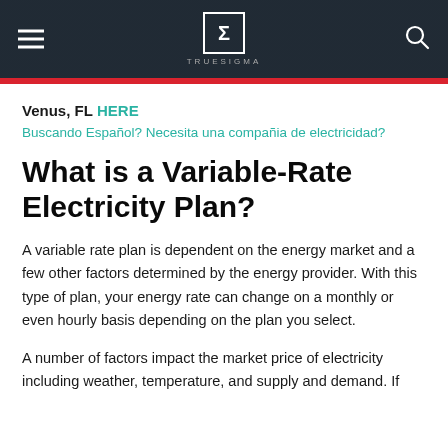[Figure (screenshot): Website navigation bar with dark background, hamburger menu icon on left, Sigma logo in center box with TRUESIGMA text below, search icon on right]
Venus, FL HERE
Buscando Español? Necesita una compañia de electricidad?
What is a Variable-Rate Electricity Plan?
A variable rate plan is dependent on the energy market and a few other factors determined by the energy provider. With this type of plan, your energy rate can change on a monthly or even hourly basis depending on the plan you select.
A number of factors impact the market price of electricity including weather, temperature, and supply and demand. If